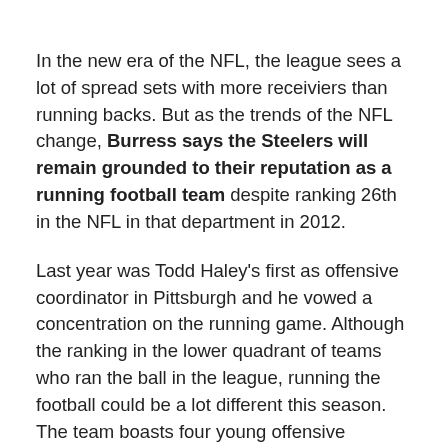In the new era of the NFL, the league sees a lot of spread sets with more receiviers than running backs. But as the trends of the NFL change, Burress says the Steelers will remain grounded to their reputation as a running football team despite ranking 26th in the NFL in that department in 2012.
Last year was Todd Haley's first as offensive coordinator in Pittsburgh and he vowed a concentration on the running game. Although the ranking in the lower quadrant of teams who ran the ball in the league, running the football could be a lot different this season. The team boasts four young offensive lineman who have been drafted in the first two rounds of NFL drafts